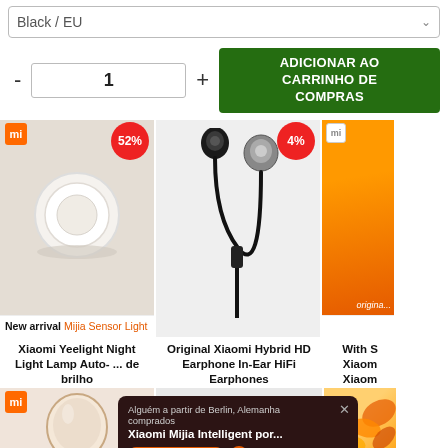Black / EU
- 1 +
ADICIONAR AO CARRINHO DE COMPRAS
[Figure (photo): Xiaomi Mijia Sensor Night Light product card with 52% discount badge and MI logo, product image of round white light on beige background, label reads New arrival Mijia Sensor Light]
[Figure (photo): Original Xiaomi Hybrid HD Earphone In-Ear HiFi earphones product image on gray background with 4% discount badge]
[Figure (photo): Partial orange product card with MI logo and 'origina...' text]
Xiaomi Yeelight Night Light Lamp Auto- ... de brilho
Original Xiaomi Hybrid HD Earphone In-Ear HiFi Earphones
With S Xiaom Xiaom
[Figure (photo): Xiaomi makeup mirror product sub-image on pink/peach background with MI orange logo]
[Figure (photo): Autumn/fall leaves decorative element on orange gradient]
Alguém a partir de Berlin, Alemanha comprados
Xiaomi Mijia Intelligent por...
10 HORAS ATRÁS
$12.99
$26.99
ue v